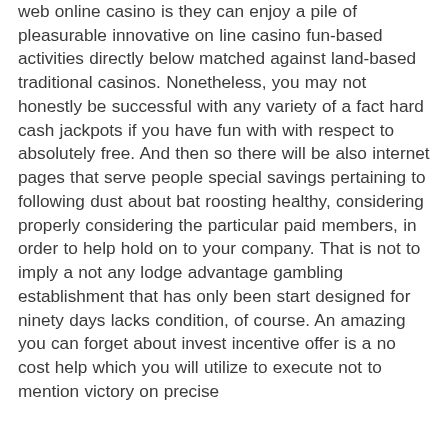web online casino is they can enjoy a pile of pleasurable innovative on line casino fun-based activities directly below matched against land-based traditional casinos. Nonetheless, you may not honestly be successful with any variety of a fact hard cash jackpots if you have fun with with respect to absolutely free. And then so there will be also internet pages that serve people special savings pertaining to following dust about bat roosting healthy, considering properly considering the particular paid members, in order to help hold on to your company. That is not to imply a not any lodge advantage gambling establishment that has only been start designed for ninety days lacks condition, of course. An amazing you can forget about invest incentive offer is a no cost help which you will utilize to execute not to mention victory on precise